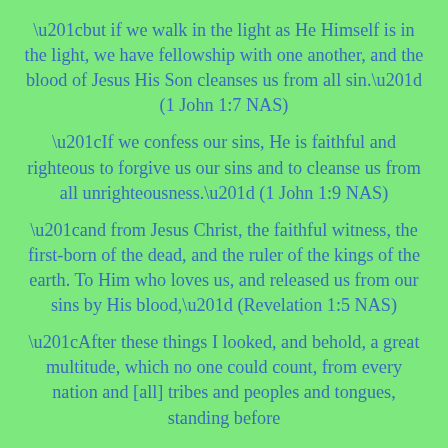“but if we walk in the light as He Himself is in the light, we have fellowship with one another, and the blood of Jesus His Son cleanses us from all sin.” (1 John 1:7 NAS)
“If we confess our sins, He is faithful and righteous to forgive us our sins and to cleanse us from all unrighteousness.” (1 John 1:9 NAS)
“and from Jesus Christ, the faithful witness, the first-born of the dead, and the ruler of the kings of the earth. To Him who loves us, and released us from our sins by His blood,” (Revelation 1:5 NAS)
“After these things I looked, and behold, a great multitude, which no one could count, from every nation and [all] tribes and peoples and tongues, standing before